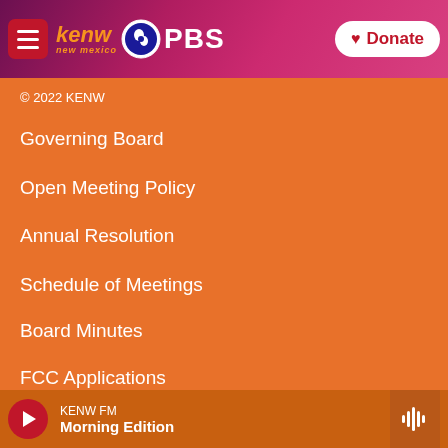[Figure (screenshot): KENW PBS website navigation menu on orange background with header bar containing hamburger menu, KENW New Mexico logo, PBS logo, and Donate button]
KENW New Mexico PBS | Donate
© 2022 KENW
Governing Board
Open Meeting Policy
Annual Resolution
Schedule of Meetings
Board Minutes
FCC Applications
FCC Public Files
CPB Transparency
KENW FM Morning Edition